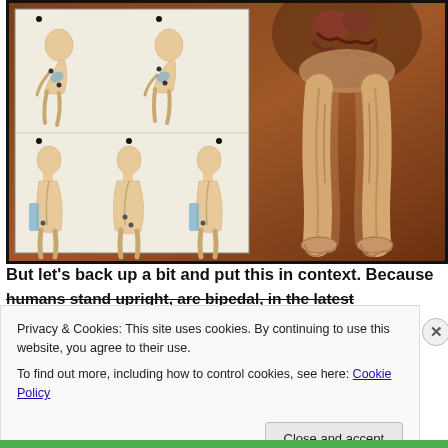[Figure (illustration): Medical/anatomical illustration showing human posture and bipedalism. Left inset panel shows multiple figures in stooped/bent postures (top two rows: two bent figures each row, bottom row: three side-profile figures showing spinal curvature). Right side shows anatomical drawing of human legs and lower torso with organs visible at top.]
But let's back up a bit and put this in context. Because
humans stand upright, are bipedal, in the latest
Privacy & Cookies: This site uses cookies. By continuing to use this website, you agree to their use.
To find out more, including how to control cookies, see here: Cookie Policy